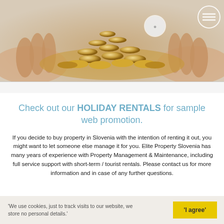[Figure (photo): Hands pushing together a pile of gold coins on a light beige background, with a circular hamburger menu icon in the top right corner]
Check out our HOLIDAY RENTALS for sample web promotion.
If you decide to buy property in Slovenia with the intention of renting it out, you might want to let someone else manage it for you. Elite Property Slovenia has many years of experience with Property Management & Maintenance, including full service support with short-term / tourist rentals. Please contact us for more information and in case of any further questions.
'We use cookies, just to track visits to our website, we store no personal details.'
'I agree'